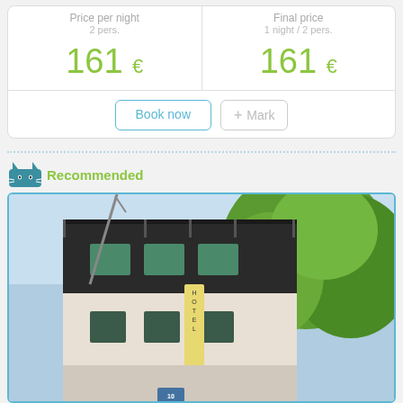| Price per night | Final price |
| --- | --- |
| 2 pers. | 1 night / 2 pers. |
| 161 € | 161 € |
Book now
+ Mark
Recommended
[Figure (photo): Exterior photo of a hotel/restaurant building with dark upper floors, white lower facade, green trees, and a vertical hotel-restaurant sign]